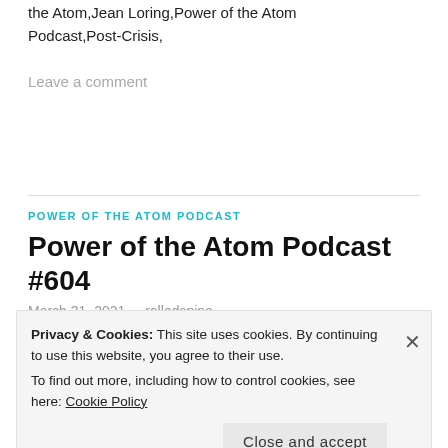the Atom,Jean Loring,Power of the Atom Podcast,Post-Crisis,
Leave a comment
POWER OF THE ATOM PODCAST
Power of the Atom Podcast #604
March 31, 2021   rolledspine
15 Minutes of Fame!
Privacy & Cookies: This site uses cookies. By continuing to use this website, you agree to their use.
To find out more, including how to control cookies, see here: Cookie Policy